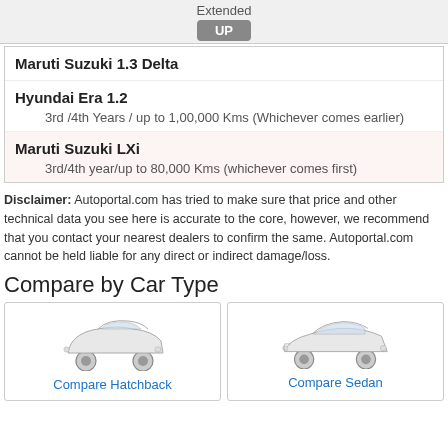Extended
UP
Maruti Suzuki 1.3 Delta
Hyundai Era 1.2
3rd /4th Years / up to 1,00,000 Kms (Whichever comes earlier)
Maruti Suzuki LXi
3rd/4th year/up to 80,000 Kms (whichever comes first)
Disclaimer: Autoportal.com has tried to make sure that price and other technical data you see here is accurate to the core, however, we recommend that you contact your nearest dealers to confirm the same. Autoportal.com cannot be held liable for any direct or indirect damage/loss.
Compare by Car Type
[Figure (illustration): Hatchback car illustration with link 'Compare Hatchback']
[Figure (illustration): Sedan car illustration with link 'Compare Sedan']